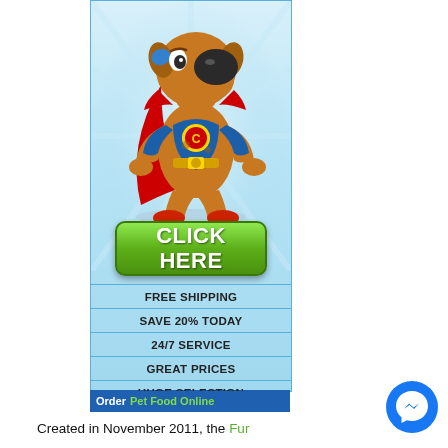[Figure (illustration): Cartoon dog dressed as a superhero with a blue mask, red cape, and a C emblem on chest, standing in a pose. Background has light blue radiating rays.]
[Figure (other): Green rounded rectangular button with white bold text reading CLICK HERE]
FREE SHIPPING
SAVE 20% TODAY
24/7 SERVICE
GREAT PRICES
HUGE SELECTION
Order Pet Food Online
Created in November 2011, the Fur